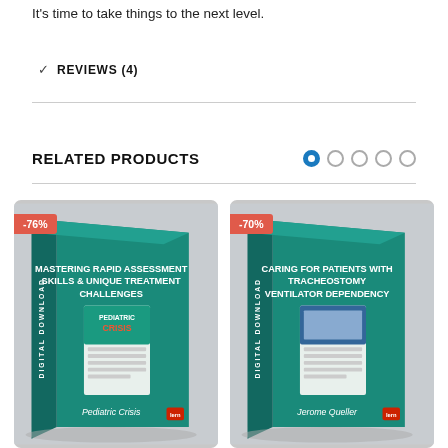It's time to take things to the next level.
REVIEWS (4)
RELATED PRODUCTS
[Figure (illustration): Product card: Mastering Rapid Assessment Skills & Unique Treatment Challenges – Pediatric Crisis digital download, teal book box, -76% discount badge]
[Figure (illustration): Product card: Caring for Patients with Tracheostomy Ventilator Dependency – Jerome Queller digital download, teal book box, -70% discount badge]